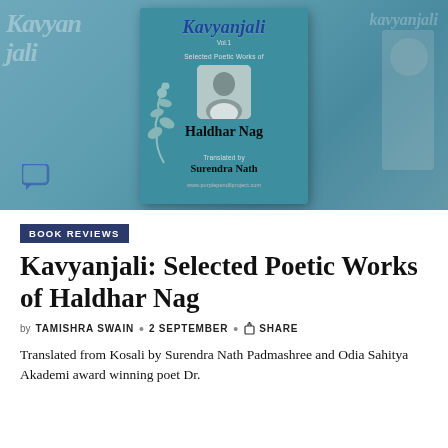[Figure (photo): Book cover of Kavyanjali Vol.1, Selected Poetic Works of Haldhar Nag, translated by Surendra Nath. Teal/blue cover with photo of the poet. Background shows blurred copies of the same cover.]
BOOK REVIEWS
Kavyanjali: Selected Poetic Works of Haldhar Nag
by TAMISHRA SWAIN • 2 SEPTEMBER • SHARE
Translated from Kosali by Surendra Nath Padmashree and Odia Sahitya Akademi award winning poet Dr.